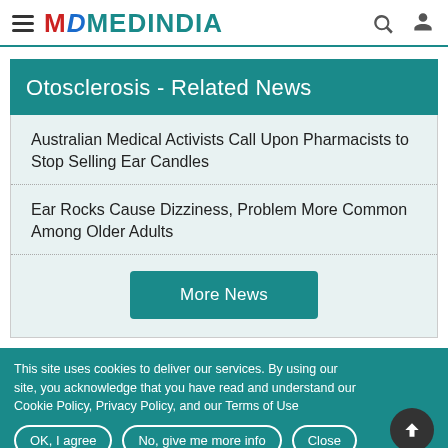MedIndia - Otosclerosis Related News
Otosclerosis - Related News
Australian Medical Activists Call Upon Pharmacists to Stop Selling Ear Candles
Ear Rocks Cause Dizziness, Problem More Common Among Older Adults
More News
This site uses cookies to deliver our services. By using our site, you acknowledge that you have read and understand our Cookie Policy, Privacy Policy, and our Terms of Use
OK, I agree | No, give me more info | Close